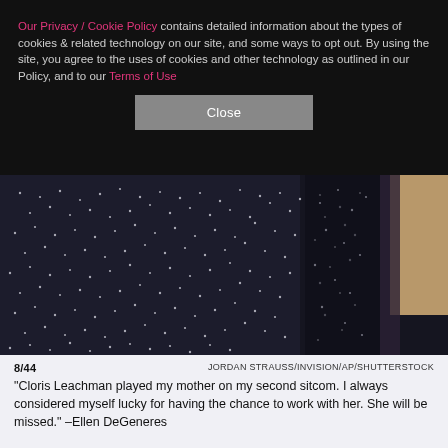Our Privacy / Cookie Policy contains detailed information about the types of cookies & related technology on our site, and some ways to opt out. By using the site, you agree to the uses of cookies and other technology as outlined in our Policy, and to our Terms of Use
[Figure (photo): Close-up photo of a dark, glittery or sequined fabric/clothing with small white/silver dots arranged in a pattern, with a lighter beige/tan area visible in the upper right corner.]
8/44   JORDAN STRAUSS/INVISION/AP/SHUTTERSTOCK
"Cloris Leachman played my mother on my second sitcom. I always considered myself lucky for having the chance to work with her. She will be missed." –Ellen DeGeneres